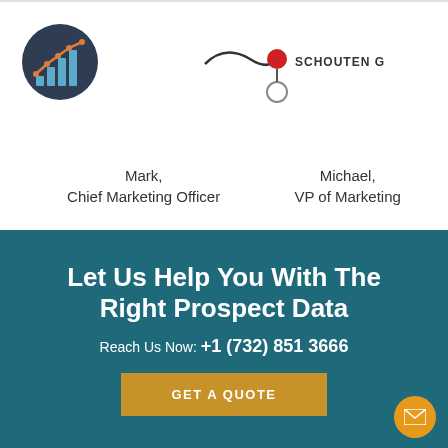[Figure (logo): Dark circle icon with bar chart and line graph in blue/teal tones]
[Figure (logo): Schouten Global company logo with red/dark swoosh and circle element]
Mark,
Chief Marketing Officer
Michael,
VP of Marketing
Let Us Help You With The Right Prospect Data
Reach Us Now: +1 (732) 851 3666
GET A QUOTE